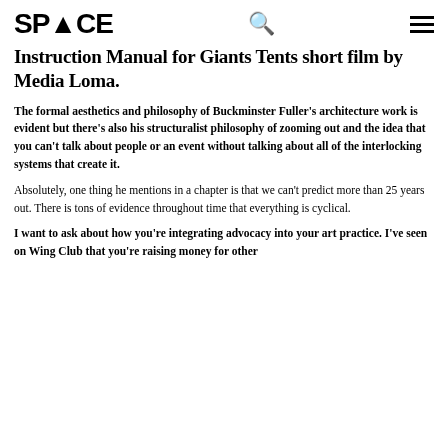SPACE
Instruction Manual for Giants Tents short film by Media Loma.
The formal aesthetics and philosophy of Buckminster Fuller's architecture work is evident but there's also his structuralist philosophy of zooming out and the idea that you can't talk about people or an event without talking about all of the interlocking systems that create it.
Absolutely, one thing he mentions in a chapter is that we can't predict more than 25 years out. There is tons of evidence throughout time that everything is cyclical.
I want to ask about how you're integrating advocacy into your art practice. I've seen on Wing Club that you're raising money for other